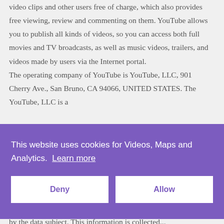video clips and other users free of charge, which also provides free viewing, review and commenting on them. YouTube allows you to publish all kinds of videos, so you can access both full movies and TV broadcasts, as well as music videos, trailers, and videos made by users via the Internet portal. The operating company of YouTube is YouTube, LLC, 901 Cherry Ave., San Bruno, CA 94066, UNITED STATES. The YouTube, LLC is a
This website uses cookies for Videos, Maps and Analytics. Learn more
Deny   Allow
by the data subject. This information is collected...